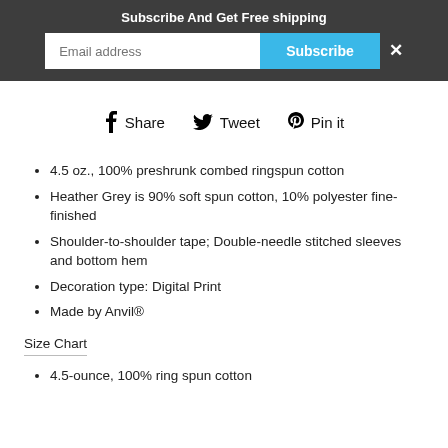Subscribe And Get Free shipping
Email address | Subscribe | ×
Share  Tweet  Pin it
4.5 oz., 100% preshrunk combed ringspun cotton
Heather Grey is 90% soft spun cotton, 10% polyester fine-finished
Shoulder-to-shoulder tape; Double-needle stitched sleeves and bottom hem
Decoration type: Digital Print
Made by Anvil®
Size Chart
4.5-ounce, 100% ring spun cotton